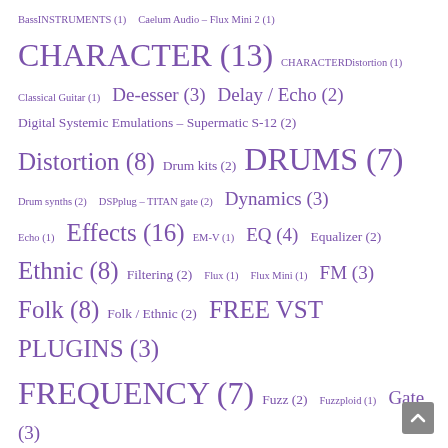BassINSTRUMENTS (1)  Caelum Audio – Flux Mini 2 (1)  CHARACTER (13)  CHARACTERDistortion (1)  Classical Guitar (1)  De-esser (3)  Delay / Echo (2)  Digital Systemic Emulations – Supermatic S-12 (2)  Distortion (8)  Drum kits (2)  DRUMS (7)  Drum synths (2)  DSPplug – TITAN gate (2)  Dynamics (3)  Echo (1)  Effects (16)  EM-V (1)  EQ (4)  Equalizer (2)  Ethnic (8)  Filtering (2)  Flux (1)  Flux Mini (1)  FM (3)  Folk (8)  Folk / Ethnic (2)  FREE VST PLUGINS (3)  FREQUENCY (7)  Fuzz (2)  Fuzzploid (1)  Gate (3)  Generators (3)  Guitar (2)  Hybrid (8)  INSTRUMENTS (13)  Keyboards (2)  L-Day – Poly-LD8D (2)  Lo-Fi (2)  Lo-fi Fx (3)  Mastering (5)  Midi VST (3)  Misc (2)  Modnlug tracker (1)  Modulation (6)